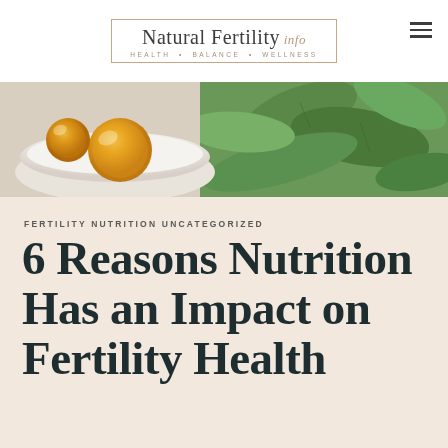Natural Fertility info — HEALTH • BALANCE • WELLNESS
[Figure (photo): Close-up of oranges/apricots in a white bowl with green leaves/herbs in the background, soft natural light]
FERTILITY NUTRITION UNCATEGORIZED
6 Reasons Nutrition Has an Impact on Fertility Health